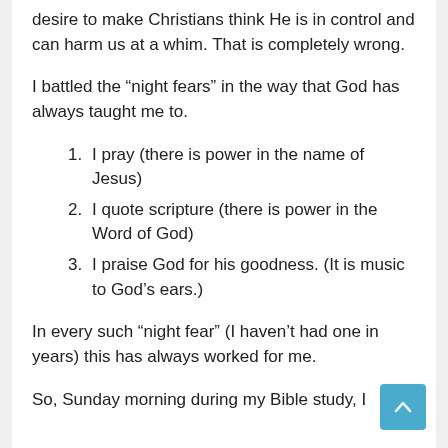desire to make Christians think He is in control and can harm us at a whim. That is completely wrong.
I battled the “night fears” in the way that God has always taught me to.
I pray (there is power in the name of Jesus)
I quote scripture (there is power in the Word of God)
I praise God for his goodness. (It is music to God’s ears.)
In every such “night fear” (I haven’t had one in years) this has always worked for me.
So, Sunday morning during my Bible study, I